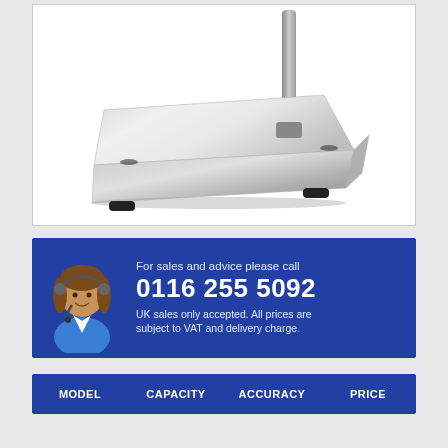[Figure (photo): Product photo of a stainless steel weighing scale platform/base with black rubber feet and a vertical pole/column at the back right, shown on a white background.]
[Figure (infographic): Blue banner with a customer service representative icon (woman with headset) and contact information for UK sales.]
For sales and advice please call
0116 255 5092
UK sales only accepted. All prices are subject to VAT and delivery charge.
| MODEL | CAPACITY | ACCURACY | PRICE |
| --- | --- | --- | --- |